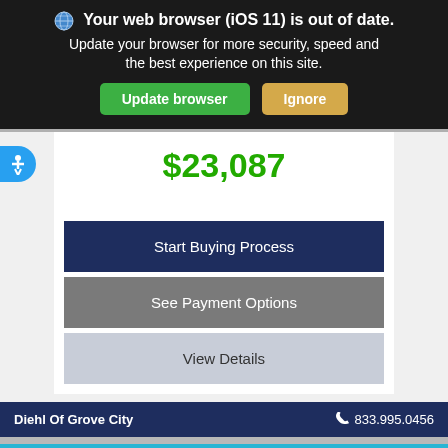🌐 Your web browser (iOS 11) is out of date. Update your browser for more security, speed and the best experience on this site.
Update browser
Ignore
$23,087
Start Buying Process
See Payment Options
View Details
Diehl Of Grove City  833.995.0456
Filter 566 Results ∧